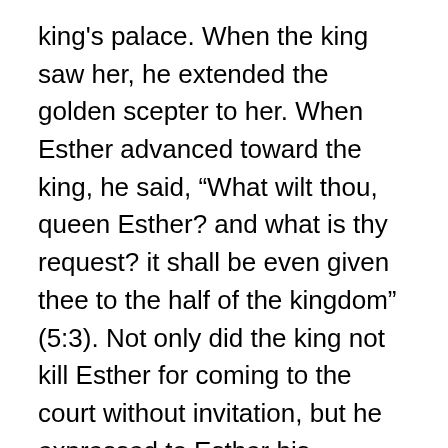king's palace. When the king saw her, he extended the golden scepter to her. When Esther advanced toward the king, he said, “What wilt thou, queen Esther? and what is thy request? it shall be even given thee to the half of the kingdom” (5:3). Not only did the king not kill Esther for coming to the court without invitation, but he expressed to Esther his approval and acceptance of her by saying he would give her half of his kingdom! When the king said he would give Esther half his kingdom, he meant that she would rule with him by his side, king and queen together. After the king’s positive reaction to Esther’s entrance into his court, she invited the king